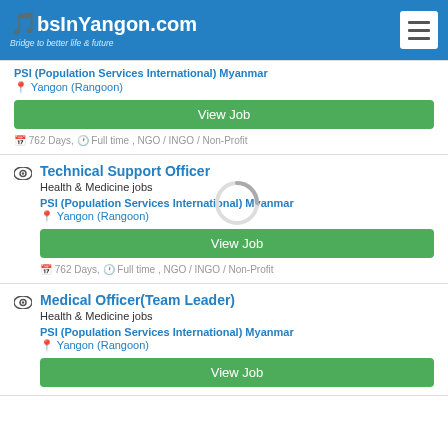JobsInYangon.com — Bridge to better life & future
PSI (Population Services International) Myanmar
Yangon (Rangoon)
View Job
762 Days, Full time , NGO / INGO / Non-Profit
Technical Support Officer
Health & Medicine jobs
PSI (Population Services International) Myanmar
Yangon (Rangoon)
View Job
762 Days, Full time , NGO / INGO / Non-Profit
Medical Officer(Team Leader)
Health & Medicine jobs
PSI (Population Services International) Myanmar
Yangon (Rangoon)
View Job